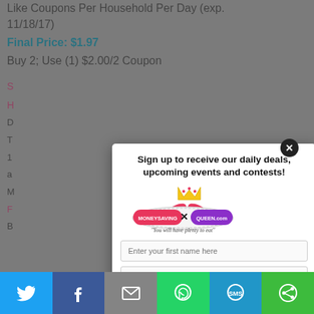Like Coupons Per Household Per Day (exp. 11/18/17)
Final Price: $1.97
Buy 2; Use (1) $2.00/2 Coupon
[Figure (screenshot): MoneySavingQueen.com logo with scissors and crown, tagline: 'You will have plenty to eat']
Sign up to receive our daily deals, upcoming events and contests!
Enter your first name here
Enter a valid email here
Subscribe
[Figure (infographic): Social media share bar with Twitter, Facebook, Email, WhatsApp, SMS, and other sharing icons]